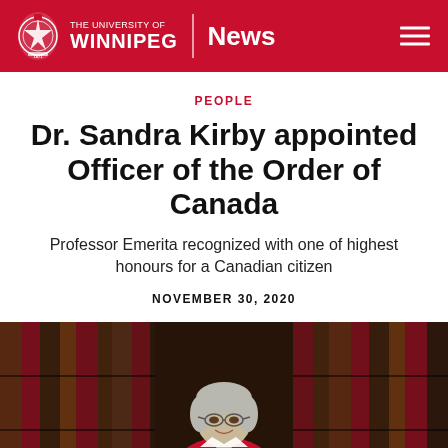THE UNIVERSITY OF WINNIPEG | News
PEOPLE
Dr. Sandra Kirby appointed Officer of the Order of Canada
Professor Emerita recognized with one of highest honours for a Canadian citizen
NOVEMBER 30, 2020
[Figure (photo): Portrait photo of Dr. Sandra Kirby, an older woman with short grey hair and glasses, wearing a red jacket, seated in front of a bookshelf background with red and brown tones]